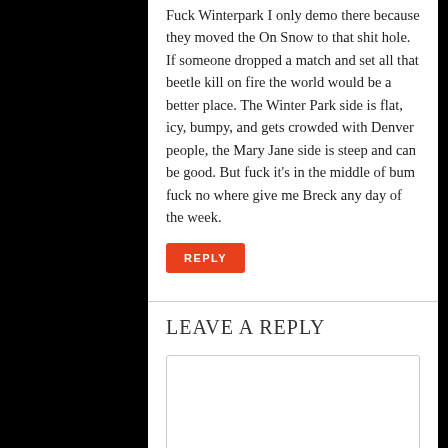Fuck Winterpark I only demo there because they moved the On Snow to that shit hole. If someone dropped a match and set all that beetle kill on fire the world would be a better place. The Winter Park side is flat, icy, bumpy, and gets crowded with Denver people, the Mary Jane side is steep and can be good. But fuck it's in the middle of bum fuck no where give me Breck any day of the week.
REPLY
LEAVE A REPLY